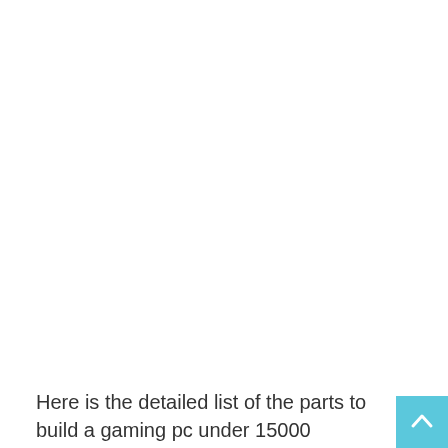Here is the detailed list of the parts to build a gaming pc under 15000